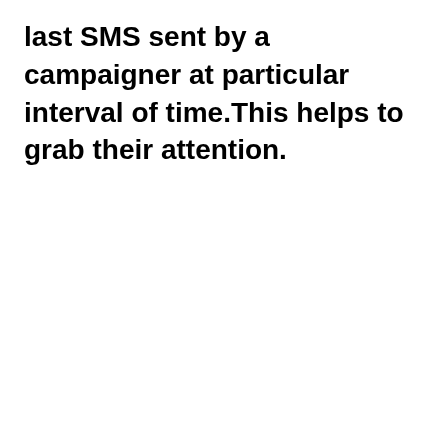last SMS sent by a campaigner at particular interval of time.This helps to grab their attention.